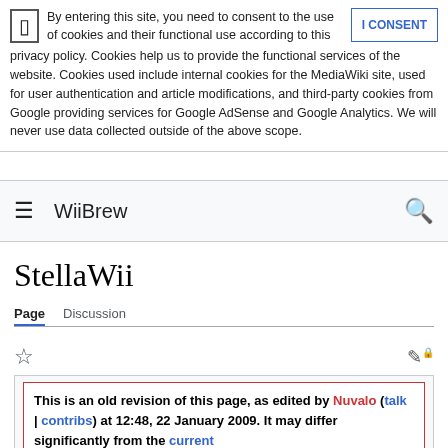By entering this site, you need to consent to the use of cookies and their functional use according to this privacy policy. Cookies help us to provide the functional services of the website. Cookies used include internal cookies for the MediaWiki site, used for user authentication and article modifications, and third-party cookies from Google providing services for Google AdSense and Google Analytics. We will never use data collected outside of the above scope.
WiiBrew
StellaWii
Page | Discussion
This is an old revision of this page, as edited by Nuvalo (talk | contribs) at 12:48, 22 January 2009. It may differ significantly from the current